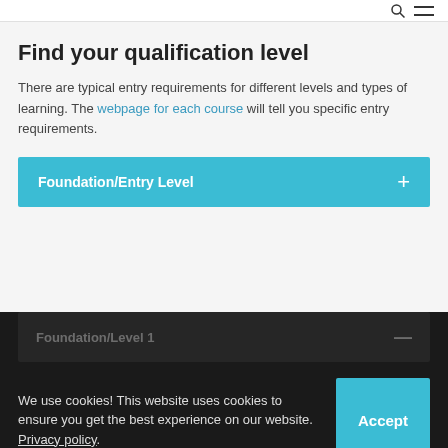Find your qualification level
There are typical entry requirements for different levels and types of learning. The webpage for each course will tell you specific entry requirements.
Foundation/Entry Level
Foundation/Level 1
We use cookies! This website uses cookies to ensure you get the best experience on our website. Privacy policy.
Level 1